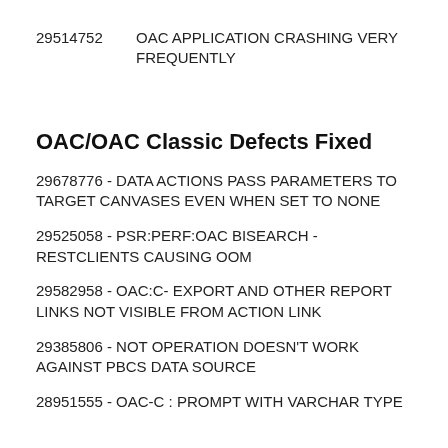29514752   OAC APPLICATION CRASHING VERY FREQUENTLY
OAC/OAC Classic Defects Fixed
29678776 - DATA ACTIONS PASS PARAMETERS TO TARGET CANVASES EVEN WHEN SET TO NONE
29525058 - PSR:PERF:OAC BISEARCH - RESTCLIENTS CAUSING OOM
29582958 - OAC:C- EXPORT AND OTHER REPORT LINKS NOT VISIBLE FROM ACTION LINK
29385806 - NOT OPERATION DOESN'T WORK AGAINST PBCS DATA SOURCE
28951555 - OAC-C : PROMPT WITH VARCHAR TYPE